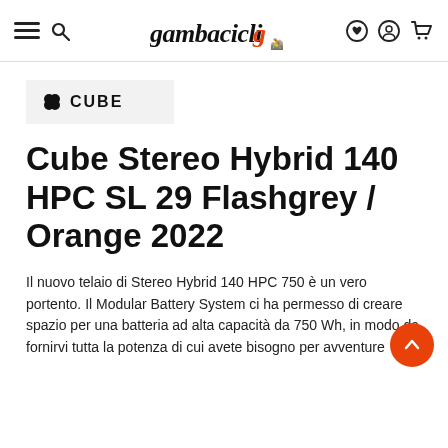gambacicli — navigation header with hamburger, search, logo, wishlist, account, cart icons
[Figure (logo): Cube brand logo — black cube icon + bold uppercase CUBE text on light grey background]
Cube Stereo Hybrid 140 HPC SL 29 Flashgrey / Orange 2022
Il nuovo telaio di Stereo Hybrid 140 HPC 750 è un vero portento. Il Modular Battery System ci ha permesso di creare spazio per una batteria ad alta capacità da 750 Wh, in modo da fornirvi tutta la potenza di cui avete bisogno per avventure